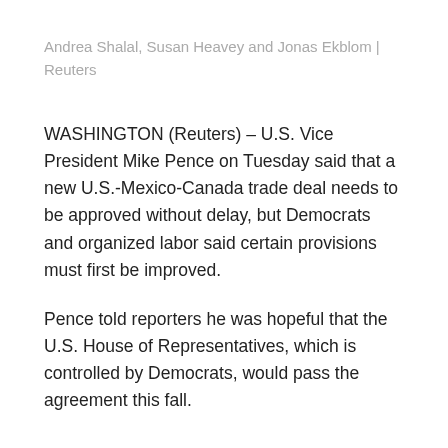Andrea Shalal, Susan Heavey and Jonas Ekblom | Reuters
WASHINGTON (Reuters) – U.S. Vice President Mike Pence on Tuesday said that a new U.S.-Mexico-Canada trade deal needs to be approved without delay, but Democrats and organized labor said certain provisions must first be improved.
Pence told reporters he was hopeful that the U.S. House of Representatives, which is controlled by Democrats, would pass the agreement this fall.